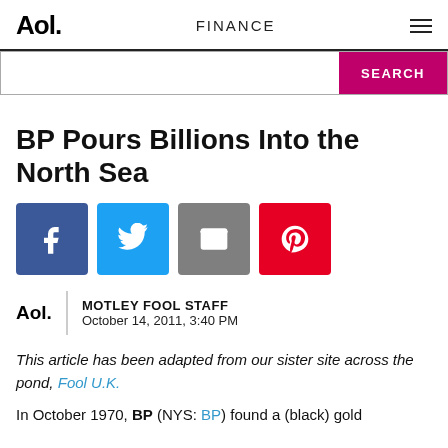Aol. | FINANCE
BP Pours Billions Into the North Sea
[Figure (other): Social share buttons: Facebook, Twitter, Email, Pinterest]
MOTLEY FOOL STAFF
October 14, 2011, 3:40 PM
This article has been adapted from our sister site across the pond, Fool U.K.
In October 1970, BP (NYS: BP) found a (black) gold...